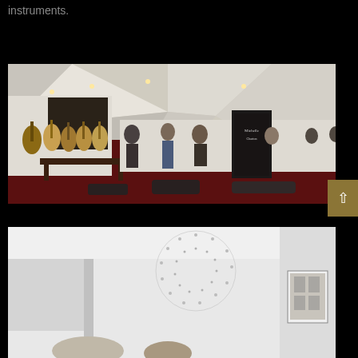instruments.
[Figure (photo): Indoor guitar exhibition hall with a dark red carpet. Multiple acoustic guitars displayed on stands along the left wall. People standing and sitting around the room, some playing instruments. Display banners visible. High white ceiling with geometric panels.]
[Figure (photo): Interior of a gallery or exhibition space with white walls. A decorative circular dot pattern is visible on one wall. Framed photographs or artworks hang on a wall in the background. People are partially visible at the bottom of the frame.]